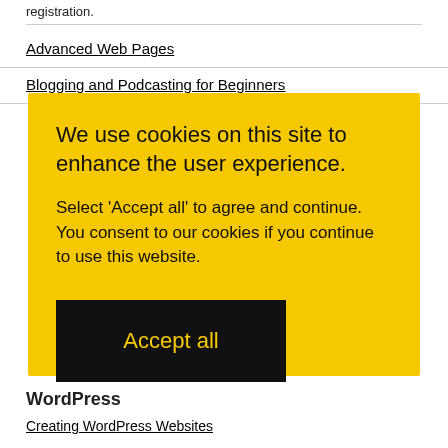registration.
Advanced Web Pages
Blogging and Podcasting for Beginners
We use cookies on this site to enhance the user experience.
Select 'Accept all' to agree and continue. You consent to our cookies if you continue to use this website.
Accept all
WordPress
Creating WordPress Websites